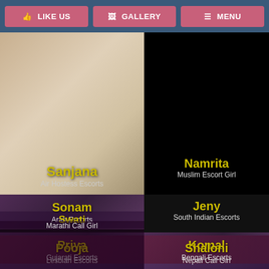LIKE US | GALLERY | MENU
[Figure (photo): Main profile photo of Sanjana (red-haired woman) with name overlay and Air Hostess Escorts subtitle]
[Figure (photo): Dark/black right panel area]
Sonam
Arab Escorts
Namrita
Muslim Escort Girl
Swati
Marathi Call Girl
Jeny
South Indian Escorts
Priya
Gujarati Escorts
Komal
Bengali Escorts
Pooja
Lesbian Escorts
Shaloni
Nepali Call Girl
Ashita
Reshma